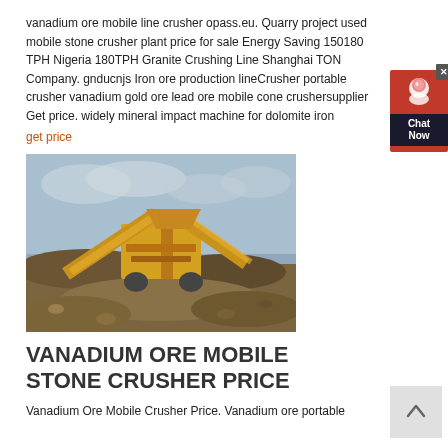vanadium ore mobile line crusher opass.eu. Quarry project used mobile stone crusher plant price for sale Energy Saving 150180 TPH Nigeria 180TPH Granite Crushing Line Shanghai TON Company. gnducnjs Iron ore production lineCrusher portable crusher vanadium gold ore lead ore mobile cone crushersupplier Get price. widely mineral impact machine for dolomite iron
get price
[Figure (photo): Mobile stone crusher machine in a quarry setting with yellow conveyor belts and crushed stone piles under overcast sky]
VANADIUM ORE MOBILE STONE CRUSHER PRICE
Vanadium Ore Mobile Crusher Price. Vanadium ore portable